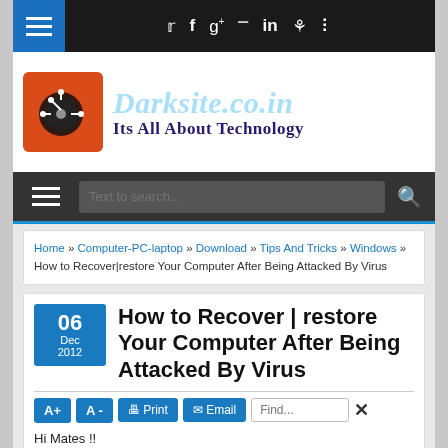Darksite.co.in – Its All About Technology
Home » Computer-PC-laptop » Download » Tips And Tricks » Windows » How to Recover|restore Your Computer After Being Attacked By Virus
How to Recover|restore Your Computer After Being Attacked By Virus
06 Dec 2012
Hi Mates !!
[Figure (photo): Keyboard/computer close-up photo with blue tones]